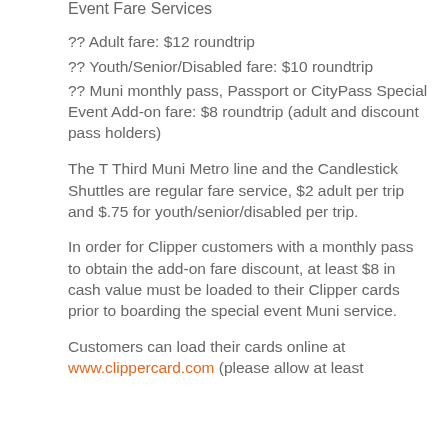Event Fare Services
?? Adult fare: $12 roundtrip
?? Youth/Senior/Disabled fare: $10 roundtrip
?? Muni monthly pass, Passport or CityPass Special Event Add-on fare: $8 roundtrip (adult and discount pass holders)
The T Third Muni Metro line and the Candlestick Shuttles are regular fare service, $2 adult per trip and $.75 for youth/senior/disabled per trip.
In order for Clipper customers with a monthly pass to obtain the add-on fare discount, at least $8 in cash value must be loaded to their Clipper cards prior to boarding the special event Muni service.
Customers can load their cards online at www.clippercard.com (please allow at least five days for processing before your event day)...